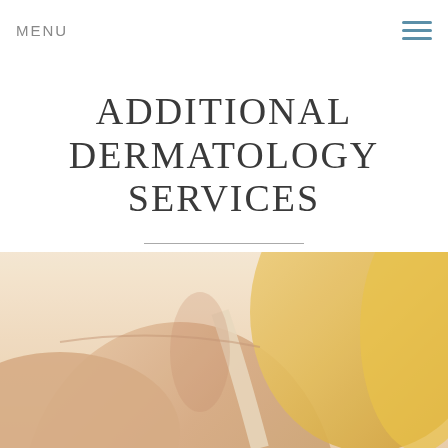MENU
ADDITIONAL DERMATOLOGY SERVICES
[Figure (photo): Close-up photo of a woman's neck and shoulder area, blonde hair visible, wearing a light-colored strap, skin texture visible — used to illustrate dermatology services]